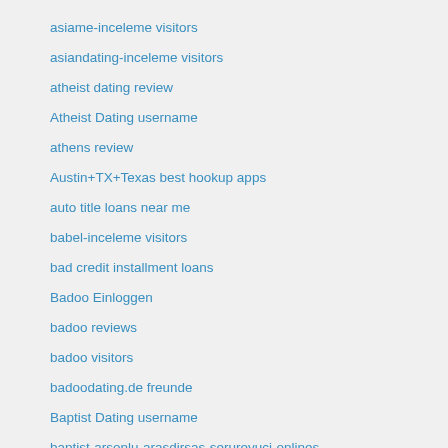asiame-inceleme visitors
asiandating-inceleme visitors
atheist dating review
Atheist Dating username
athens review
Austin+TX+Texas best hookup apps
auto title loans near me
babel-inceleme visitors
bad credit installment loans
Badoo Einloggen
badoo reviews
badoo visitors
badoodating.de freunde
Baptist Dating username
baptist-arsonlu-arasdirsas-serureyuci-onlines